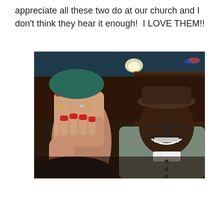appreciate all these two do at our church and I don't think they hear it enough!  I LOVE THEM!!
[Figure (photo): A woman covering her face with both hands showing red nail polish and rings, leaning against a smiling man wearing glasses, a hat, and a gray cardigan, seated in a restaurant booth with dark wood paneling and dim overhead lighting.]